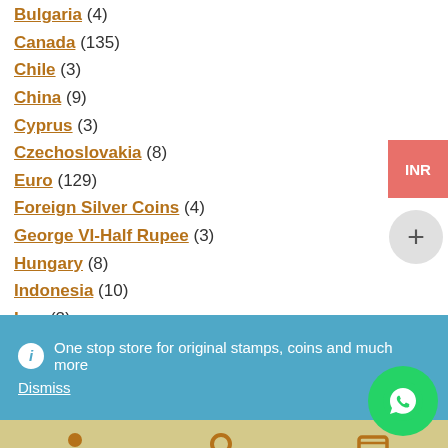Bulgaria (4)
Canada (135)
Chile (3)
China (9)
Cyprus (3)
Czechoslovakia (8)
Euro (129)
Foreign Silver Coins (4)
George VI-Half Rupee (3)
Hungary (8)
Indonesia (10)
Iraq (2)
Ireland (16)
Italy (11)
One stop store for original stamps, coins and much more
Dismiss